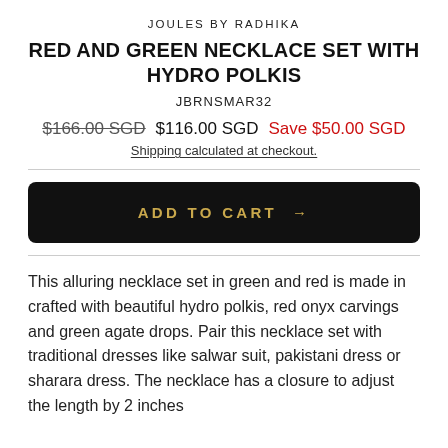JOULES BY RADHIKA
RED AND GREEN NECKLACE SET WITH HYDRO POLKIS
JBRNSMAR32
$166.00 SGD  $116.00 SGD  Save $50.00 SGD
Shipping calculated at checkout.
ADD TO CART →
This alluring necklace set in green and red is made in crafted with beautiful hydro polkis, red onyx carvings and green agate drops. Pair this necklace set with traditional dresses like salwar suit, pakistani dress or sharara dress. The necklace has a closure to adjust the length by 2 inches